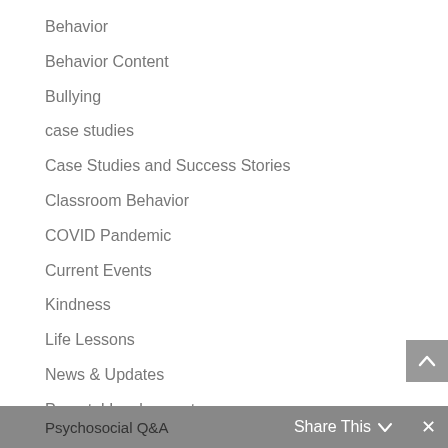Behavior
Behavior Content
Bullying
case studies
Case Studies and Success Stories
Classroom Behavior
COVID Pandemic
Current Events
Kindness
Life Lessons
News & Updates
Parental Involvement
Pre-K
Psychosocial Q&A   Share This ∨   ✕